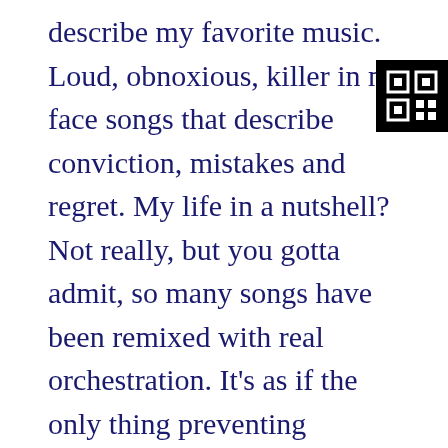describe my favorite music. Loud, obnoxious, killer in my face songs that describe conviction, mistakes and regret. My life in a nutshell? Not really, but you gotta admit, so many songs have been remixed with real orchestration. It's as if the only thing preventing acceptance of it is time.

Maybe broadcast radio is simply biding time while the old fogeys who still appreciate 50's tunes disintegrate. Hard core head bangers still get their favorite songs on the radio by subscribing to sirius radio. It's all about the money, the time and electing a long haired committed rocker for president. None of the candidates look